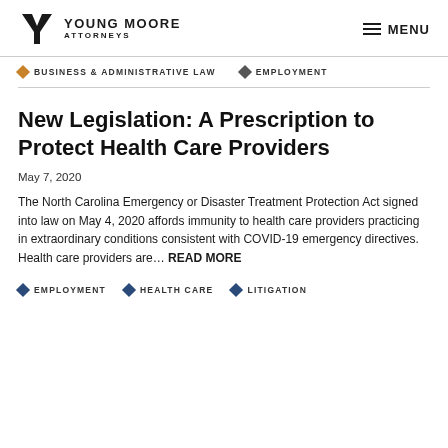YOUNG MOORE ATTORNEYS | MENU
BUSINESS & ADMINISTRATIVE LAW   EMPLOYMENT
New Legislation: A Prescription to Protect Health Care Providers
May 7, 2020
The North Carolina Emergency or Disaster Treatment Protection Act signed into law on May 4, 2020 affords immunity to health care providers practicing in extraordinary conditions consistent with COVID-19 emergency directives. Health care providers are… READ MORE
EMPLOYMENT   HEALTH CARE   LITIGATION